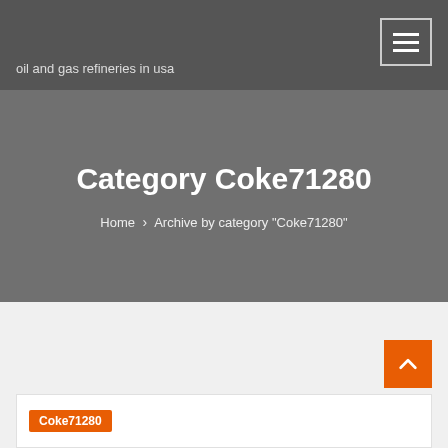oil and gas refineries in usa
Category Coke71280
Home › Archive by category "Coke71280"
Coke71280